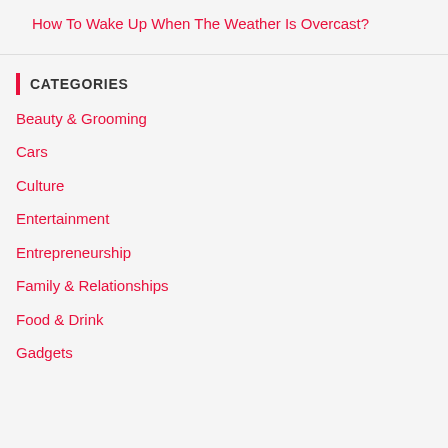How To Wake Up When The Weather Is Overcast?
CATEGORIES
Beauty & Grooming
Cars
Culture
Entertainment
Entrepreneurship
Family & Relationships
Food & Drink
Gadgets